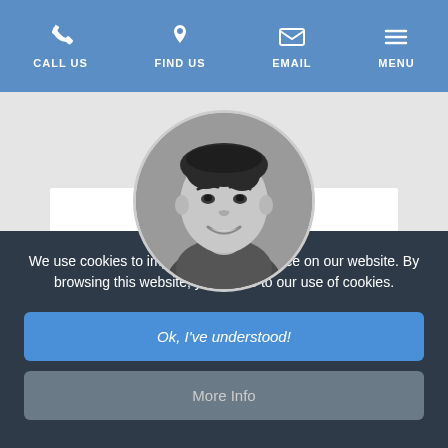CALL US  FIND US  EMAIL  MENU
[Figure (photo): Circular black and white portrait photo of a smiling young man]
We use cookies to improve your experience on our website. By browsing this website, you agree to our use of cookies.
Ok, I've understood!
More Info